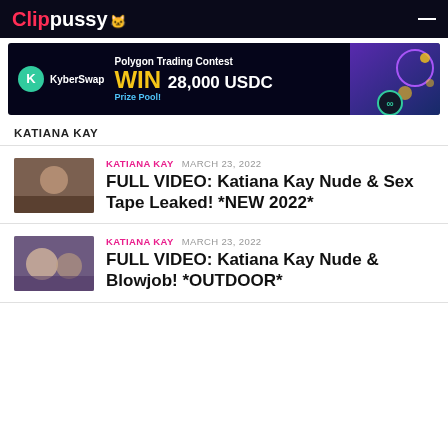ClipPussy
[Figure (screenshot): KyberSwap advertisement banner - Polygon Trading Contest, WIN 28,000 USDC Prize Pool!]
KATIANA KAY
[Figure (photo): Thumbnail image for first article]
KATIANA KAY  MARCH 23, 2022
FULL VIDEO: Katiana Kay Nude & Sex Tape Leaked! *NEW 2022*
[Figure (photo): Thumbnail image for second article]
KATIANA KAY  MARCH 23, 2022
FULL VIDEO: Katiana Kay Nude & Blowjob! *OUTDOOR*